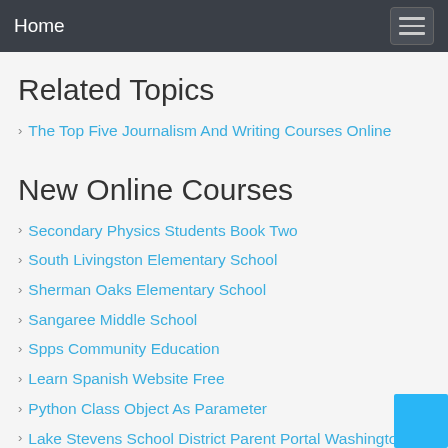Home
Related Topics
The Top Five Journalism And Writing Courses Online
New Online Courses
Secondary Physics Students Book Two
South Livingston Elementary School
Sherman Oaks Elementary School
Sangaree Middle School
Spps Community Education
Learn Spanish Website Free
Python Class Object As Parameter
Lake Stevens School District Parent Portal Washington